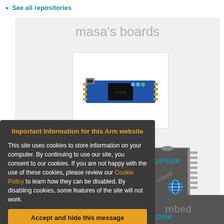▶ See all repositories
masa's boards
[Figure (photo): Photo of mbed LPC1768 microcontroller development board]
mbed LPC1768
[Figure (screenshot): Partially visible second board, appears to be a DIP package chip]
114FN28
[Figure (photo): World/globe icon logo]
[Figure (screenshot): Partially visible third board]
F302R8
Important Information for this Arm website
This site uses cookies to store information on your computer. By continuing to use our site, you consent to our cookies. If you are not happy with the use of these cookies, please review our Cookie Policy to learn how they can be disabled. By disabling cookies, some features of the site will not work.
Accept and hide this message